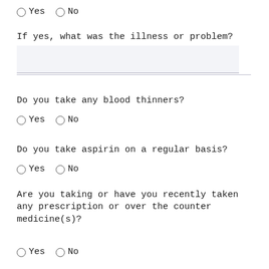Yes   No
If yes, what was the illness or problem?
Do you take any blood thinners?
Yes   No
Do you take aspirin on a regular basis?
Yes   No
Are you taking or have you recently taken any prescription or over the counter medicine(s)?
Yes   No